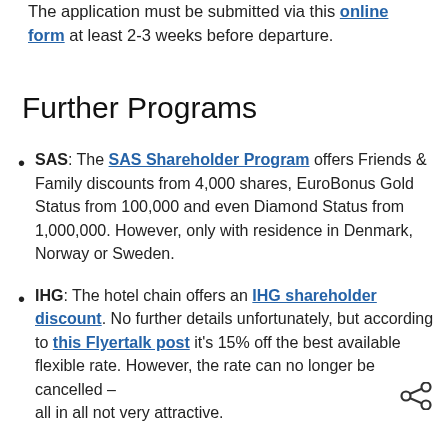The application must be submitted via this online form at least 2-3 weeks before departure.
Further Programs
SAS: The SAS Shareholder Program offers Friends & Family discounts from 4,000 shares, EuroBonus Gold Status from 100,000 and even Diamond Status from 1,000,000. However, only with residence in Denmark, Norway or Sweden.
IHG: The hotel chain offers an IHG shareholder discount. No further details unfortunately, but according to this Flyertalk post it's 15% off the best available flexible rate. However, the rate can no longer be cancelled – all in all not very attractive.